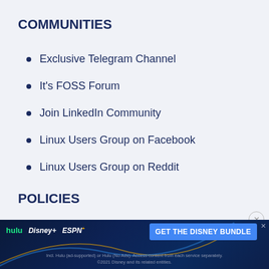COMMUNITIES
Exclusive Telegram Channel
It's FOSS Forum
Join LinkedIn Community
Linux Users Group on Facebook
Linux Users Group on Reddit
POLICIES
Affiliate Policy
Privacy Policy
[Figure (infographic): Disney Bundle advertisement banner with Hulu, Disney+, and ESPN+ logos and a 'GET THE DISNEY BUNDLE' call-to-action button. Fine print: Incl. Hulu (ad-supported) or Hulu (No Ads). Access content from each service separately. ©2021 Disney and its related entities.]